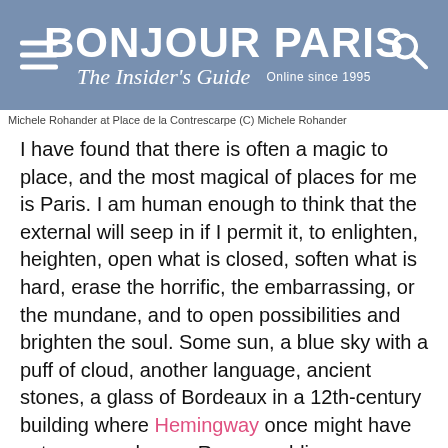BONJOUR PARIS The Insider's Guide Online since 1995
Michele Rohander at Place de la Contrescarpe (C) Michele Rohander
I have found that there is often a magic to place, and the most magical of places for me is Paris. I am human enough to think that the external will seep in if I permit it, to enlighten, heighten, open what is closed, soften what is hard, erase the horrific, the embarrassing, or the mundane, and to open possibilities and brighten the soul. Some sun, a blue sky with a puff of cloud, another language, ancient stones, a glass of Bordeaux in a 12th-century building where Hemingway once might have sat or near where a Roman soldier once walked...
Paris does indeed accomplish such sorcery for me – and the Paris I adore is the Paris that remains untouched by the 19th-century Baron Haussmann. O...